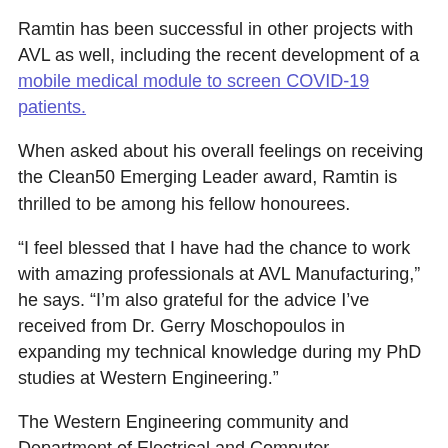Ramtin has been successful in other projects with AVL as well, including the recent development of a mobile medical module to screen COVID-19 patients.
When asked about his overall feelings on receiving the Clean50 Emerging Leader award, Ramtin is thrilled to be among his fellow honourees.
“I feel blessed that I have had the chance to work with amazing professionals at AVL Manufacturing,” he says. “I’m also grateful for the advice I’ve received from Dr. Gerry Moschopoulos in expanding my technical knowledge during my PhD studies at Western Engineering.”
The Western Engineering community and Department of Electrical and Computer Engineering congratulates Ramtin on his well-deserved award and looks forward to following along as he finds continued success in cleantech innovation.